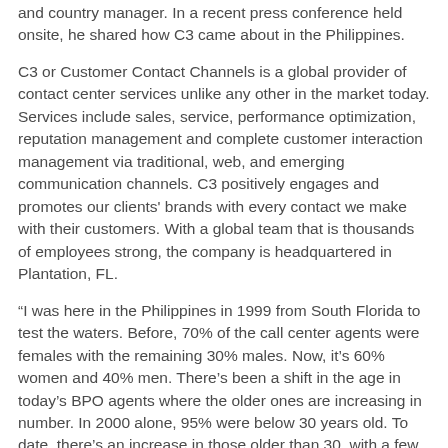and country manager. In a recent press conference held onsite, he shared how C3 came about in the Philippines.
C3 or Customer Contact Channels is a global provider of contact center services unlike any other in the market today. Services include sales, service, performance optimization, reputation management and complete customer interaction management via traditional, web, and emerging communication channels. C3 positively engages and promotes our clients' brands with every contact we make with their customers. With a global team that is thousands of employees strong, the company is headquartered in Plantation, FL.
“I was here in the Philippines in 1999 from South Florida to test the waters. Before, 70% of the call center agents were females with the remaining 30% males. Now, it’s 60% women and 40% men. There’s been a shift in the age in today’s BPO agents where the older ones are increasing in number. In 2000 alone, 95% were below 30 years old. To date, there’s an increase in those older than 30, with a few in their 50s joining the industry. Every one of these agents